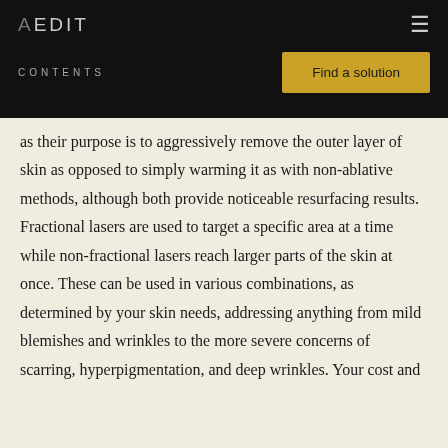AEDIT
CONTENTS
Find a solution
as their purpose is to aggressively remove the outer layer of skin as opposed to simply warming it as with non-ablative methods, although both provide noticeable resurfacing results. Fractional lasers are used to target a specific area at a time while non-fractional lasers reach larger parts of the skin at once. These can be used in various combinations, as determined by your skin needs, addressing anything from mild blemishes and wrinkles to the more severe concerns of scarring, hyperpigmentation, and deep wrinkles. Your cost and